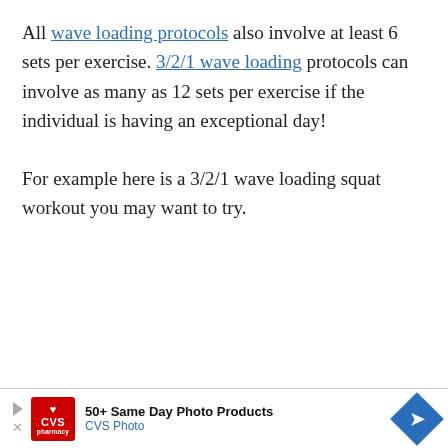All wave loading protocols also involve at least 6 sets per exercise. 3/2/1 wave loading protocols can involve as many as 12 sets per exercise if the individual is having an exceptional day!
For example here is a 3/2/1 wave loading squat workout you may want to try.
[Figure (other): CVS Pharmacy advertisement banner: '50+ Same Day Photo Products / CVS Photo' with CVS logo and blue arrow icon]